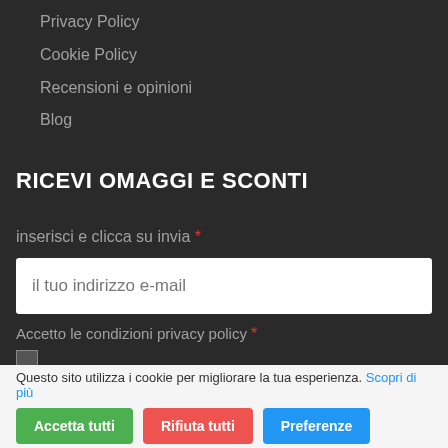Privacy Policy
Cookie Policy
Recensioni e opinioni
Blog
RICEVI OMAGGI E SCONTI
inserisci e clicca su invia *
il tuo indirizzo e-mail
Accetto le condizioni privacy policy *
Questo sito utilizza i cookie per migliorare la tua esperienza. Scopri di più
Accetta tutti
Rifiuta tutti
Preferenze